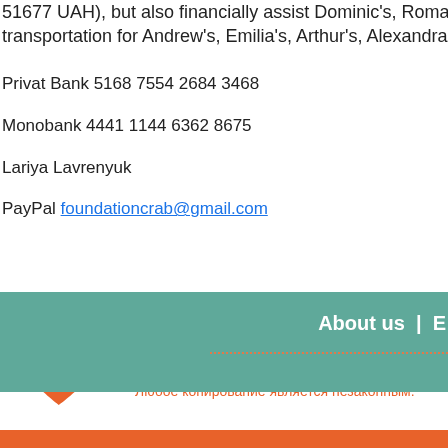51677 UAH), but also financially assist Dominic's, Roman's, Rodion's, transportation for Andrew's, Emilia's, Arthur's, Alexandra's, Maria's, Nasty
Privat Bank 5168 7554 2684 3468
Monobank 4441 1144 6362 8675
Lariya Lavrenyuk
PayPal foundationcrab@gmail.com
[Figure (logo): Heart-shaped logo with crab icon in orange/coral color]
Информация о детях и фотографии размещены согласно договору и разрешению от родителей. Любое копирование является незаконным.
About us  |  E